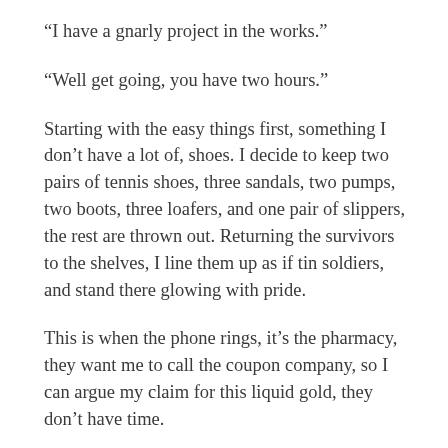“I have a gnarly project in the works.”
“Well get going, you have two hours.”
Starting with the easy things first, something I don’t have a lot of, shoes. I decide to keep two pairs of tennis shoes, three sandals, two pumps, two boots, three loafers, and one pair of slippers, the rest are thrown out. Returning the survivors to the shelves, I line them up as if tin soldiers, and stand there glowing with pride.
This is when the phone rings, it’s the pharmacy, they want me to call the coupon company, so I can argue my claim for this liquid gold, they don’t have time.
Isn’t that their job?
Whatever, taking down the number, I promise to call with the results, and instead of listening to charming Christmas carols